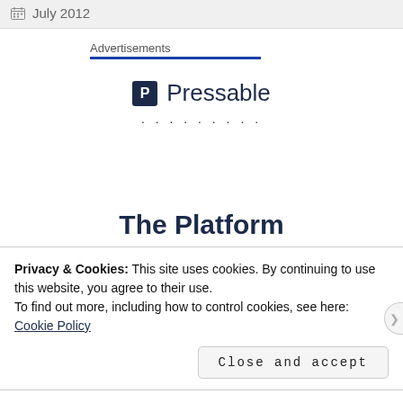July 2012
Advertisements
[Figure (logo): Pressable logo with stylized P icon in dark navy square and the word 'Pressable' in large dark navy text, followed by a row of dots]
The Platform
Privacy & Cookies: This site uses cookies. By continuing to use this website, you agree to their use.
To find out more, including how to control cookies, see here: Cookie Policy